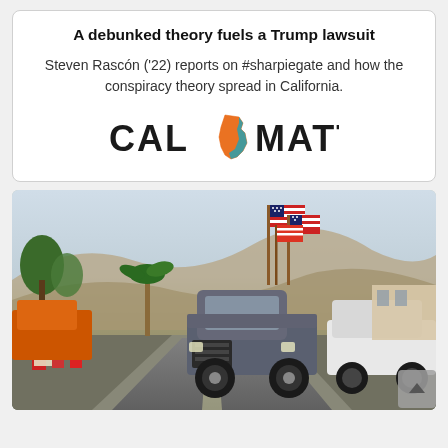A debunked theory fuels a Trump lawsuit
Steven Rascón ('22) reports on #sharpiegate and how the conspiracy theory spread in California.
[Figure (logo): CalMatters logo with California state shape icon in orange/teal between CAL and MATTERS text]
[Figure (photo): A GMC pickup truck with American flags attached to the bed drives in a vehicle convoy. People in red shirts and hats stand along the roadside. Desert mountains visible in background.]